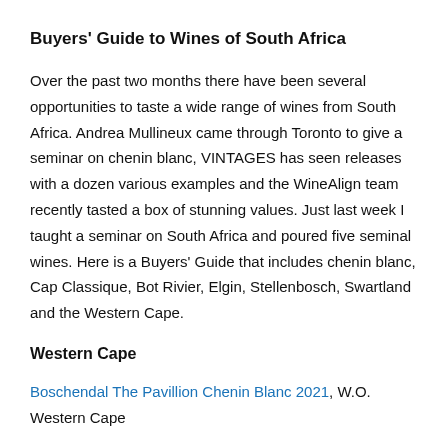Buyers' Guide to Wines of South Africa
Over the past two months there have been several opportunities to taste a wide range of wines from South Africa. Andrea Mullineux came through Toronto to give a seminar on chenin blanc, VINTAGES has seen releases with a dozen various examples and the WineAlign team recently tasted a box of stunning values. Just last week I taught a seminar on South Africa and poured five seminal wines. Here is a Buyers' Guide that includes chenin blanc, Cap Classique, Bot Rivier, Elgin, Stellenbosch, Swartland and the Western Cape.
Western Cape
Boschendal The Pavillion Chenin Blanc 2021, W.O. Western Cape